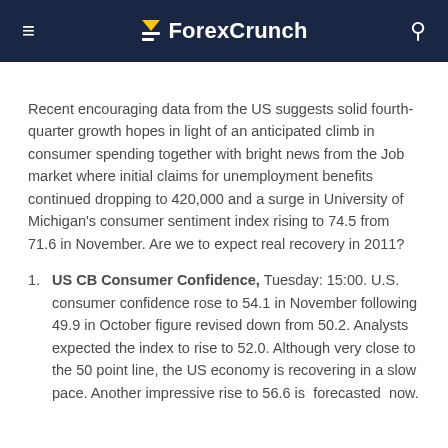ForexCrunch
Recent encouraging data from the US suggests solid fourth-quarter growth hopes in light of an anticipated climb in consumer spending together with bright news from the Job market where initial claims for unemployment benefits continued dropping to 420,000 and a surge in University of Michigan's consumer sentiment index rising to 74.5 from 71.6 in November. Are we to expect real recovery in 2011?
US CB Consumer Confidence, Tuesday: 15:00. U.S. consumer confidence rose to 54.1 in November following 49.9 in October figure revised down from 50.2. Analysts expected the index to rise to 52.0. Although very close to the 50 point line, the US economy is recovering in a slow pace. Another impressive rise to 56.6 is forecasted now.